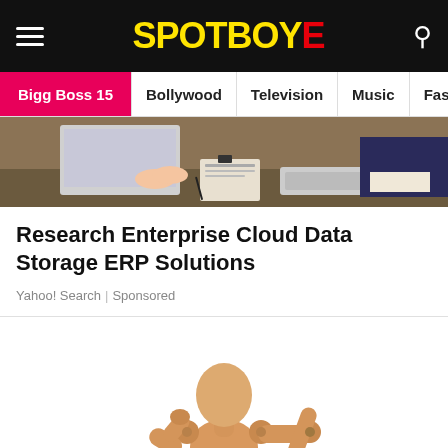SPOTBOYE
Bigg Boss 15 | Bollywood | Television | Music | Fashion
[Figure (photo): Business/laptop scene with two people working at a desk, one typing on a laptop, the other in a suit]
Research Enterprise Cloud Data Storage ERP Solutions
Yahoo! Search | Sponsored
[Figure (photo): Wooden articulated mannequin/artist figure posing with hands on hips against a white background]